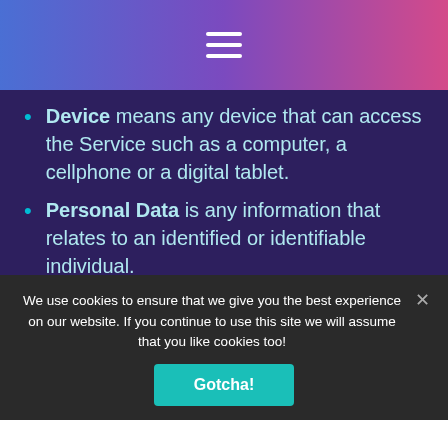hamburger menu icon
Device means any device that can access the Service such as a computer, a cellphone or a digital tablet.
Personal Data is any information that relates to an identified or identifiable individual.
Service refers to the Website.
Service Provider means any natural or legal person...
We use cookies to ensure that we give you the best experience on our website. If you continue to use this site we will assume that you like cookies too!
Gotcha!